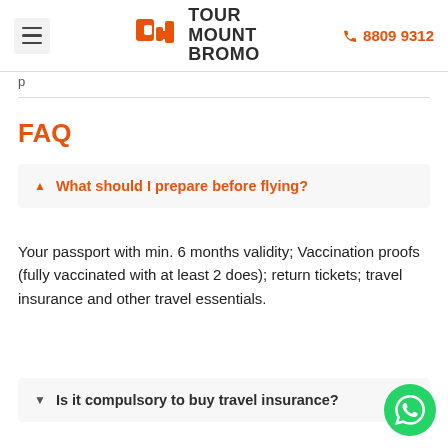Tour Mount Bromo | ☎ 8809 9312
p
FAQ
▲ What should I prepare before flying?
Your passport with min. 6 months validity; Vaccination proofs (fully vaccinated with at least 2 does); return tickets; travel insurance and other travel essentials.
▼ Is it compulsory to buy travel insurance?